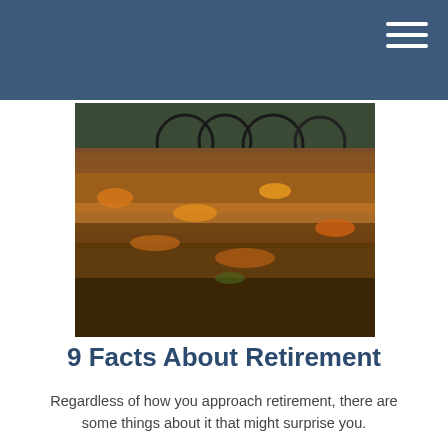[Figure (photo): Autumn leaves on the ground with bicycles visible in the background, outdoor park setting with fall foliage]
9 Facts About Retirement
Regardless of how you approach retirement, there are some things about it that might surprise you.
[Figure (photo): A tablet device displaying a financial planning screen with text 'Objective: Protect Principal' and a shield graphic with 'Money' and other financial terms]